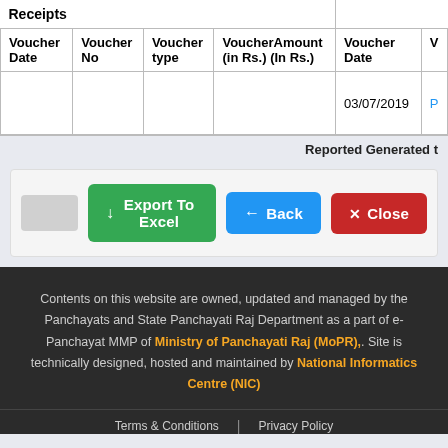| Voucher Date | Voucher No | Voucher type | VoucherAmount (in Rs.) (In Rs.) | Voucher Date | V... |
| --- | --- | --- | --- | --- | --- |
|  |  |  |  | 03/07/2019 | P... |
Reported Generated t
[Figure (screenshot): Three action buttons: Export To Excel (green), Back (blue), Close (red)]
Contents on this website are owned, updated and managed by the Panchayats and State Panchayati Raj Department as a part of e-Panchayat MMP of Ministry of Panchayati Raj (MoPR),. Site is technically designed, hosted and maintained by National Informatics Centre (NIC)
Terms & Conditions | Privacy Policy